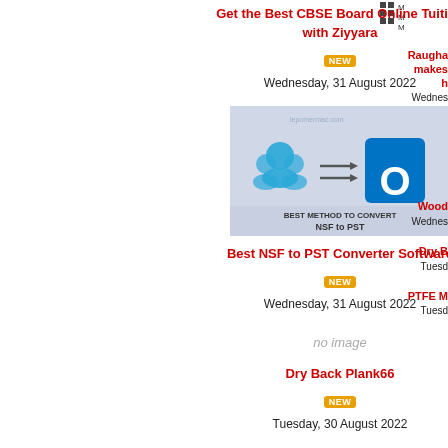Get the Best CBSE Board Online Tuition with Ziyyara
Wednesday, 31 August 2022
[Figure (screenshot): Article thumbnail showing best method to convert NSF to PST with icons of people and Outlook logo]
Best NSF to PST Converter Software
Wednesday, 31 August 2022
no image
Dry Back Plank66
Tuesday, 30 August 2022
no image
PTFE Fine Powders85
Tuesday, 30 August 2022
Raugha makes
Wednes
Wood
Wednes
Dry B
Tuesd
PTFE M
Tuesd